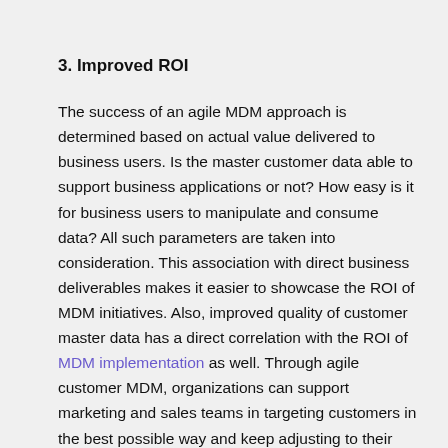3. Improved ROI
The success of an agile MDM approach is determined based on actual value delivered to business users. Is the master customer data able to support business applications or not? How easy is it for business users to manipulate and consume data? All such parameters are taken into consideration. This association with direct business deliverables makes it easier to showcase the ROI of MDM initiatives. Also, improved quality of customer master data has a direct correlation with the ROI of MDM implementation as well. Through agile customer MDM, organizations can support marketing and sales teams in targeting customers in the best possible way and keep adjusting to their expectations, hence maximizing the ROI.